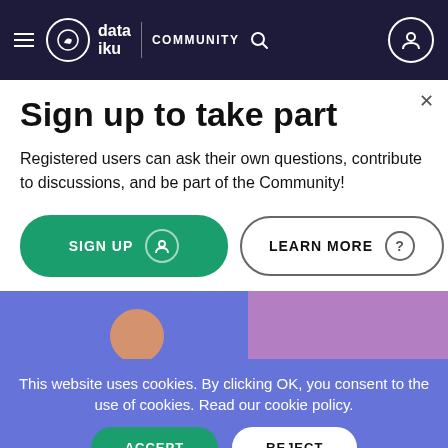data iku COMMUNITY
Sign up to take part
Registered users can ask their own questions, contribute to discussions, and be part of the Community!
[Figure (screenshot): Sign up and Learn More buttons with blue community section below]
This website uses cookies. By clicking OK, you consent to the use of cookies. Read our cookie policy.